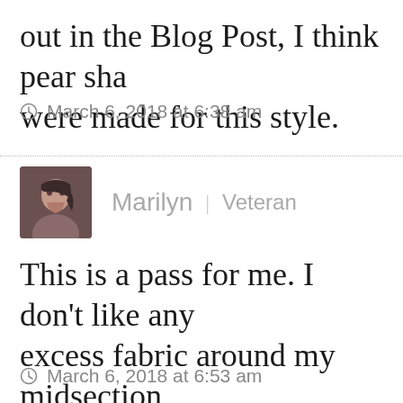out in the Blog Post, I think pear sha were made for this style.
March 6, 2018 at 6:38 am
Marilyn | Veteran
This is a pass for me. I don't like any excess fabric around my midsection will enjoy this look on others.
March 6, 2018 at 6:53 am